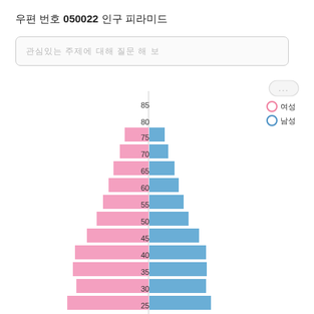우편 번호 050022 인구 피라미드
[Figure (bar-chart): Population Pyramid 050022]